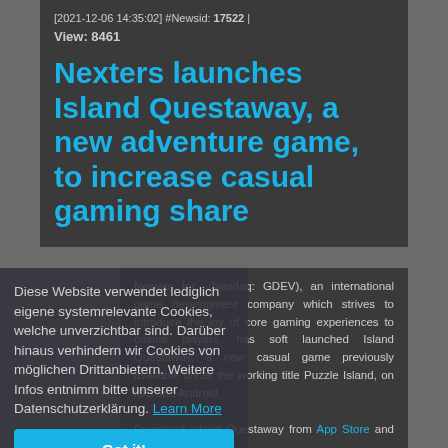[2021-12-06 14:35:02]  #Newsid: 17522 | View: 8461
Nexters launches Island Questaway, a new adventure game, to increase casual gaming share
Diese Website verwendet lediglich eigene systemrelevante Cookies, welche unverzichtbar sind. Darüber hinaus verhindern wir Cookies von möglichen Drittanbietern. Weitere Infos entnimm bitte unserer Datenschutzerklärung. Learn More
Nexters Inc. (Nasdaq: GDEV), an international game development company which strives to introduce the joy of core gaming experiences to casual players, has soft launched Island Questaway, a new casual game previously available under the working title Puzzle Island, on iOS and Android.
Download Island Questaway from App Store and Google Play.